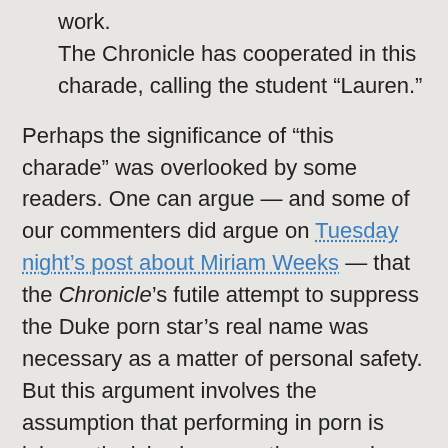work.
The Chronicle has cooperated in this charade, calling the student “Lauren.”
Perhaps the significance of “this charade” was overlooked by some readers. One can argue — and some of our commenters did argue on Tuesday night’s post about Miriam Weeks — that the Chronicle’s futile attempt to suppress the Duke porn star’s real name was necessary as a matter of personal safety. But this argument involves the assumption that performing in porn is inherently risky, because the men who watch porn are creepy and potentially violent stalkers.
Nobody at Duke University seems interested in the conservative anti-pornography argument, which is that porn is bad for the very reason that it incites and